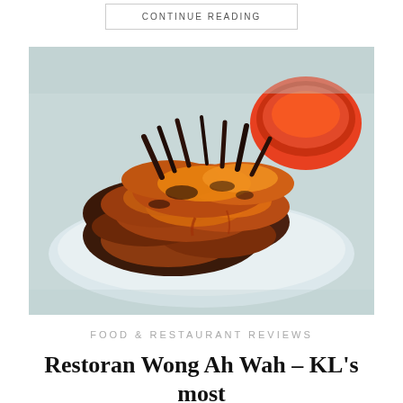CONTINUE READING
[Figure (photo): Plate of BBQ grilled chicken wings with caramelized glaze, stacked on a white plate with a red dipping sauce bowl in the background, on a light blue table surface.]
FOOD & RESTAURANT REVIEWS
Restoran Wong Ah Wah – KL's most famous BBQ chicken wings